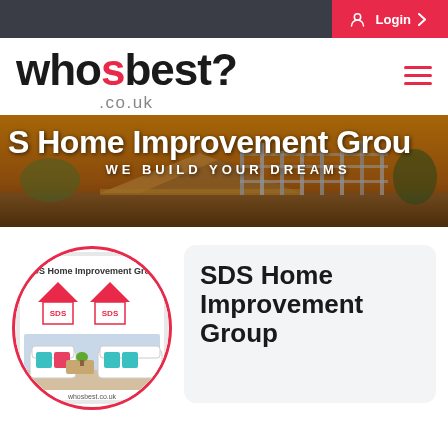Login
[Figure (logo): whosbest?.co.uk website logo with hamburger menu icon]
[Figure (photo): Construction site banner showing a building with scaffolding at sunset. Text overlay: 'S Home Improvement Grou' and 'WE BUILD YOUR DREAMS']
[Figure (logo): SDS Home Improvement Group circular logo with red border showing interior room with sofas and SDS logos]
SDS Home Improvement Group